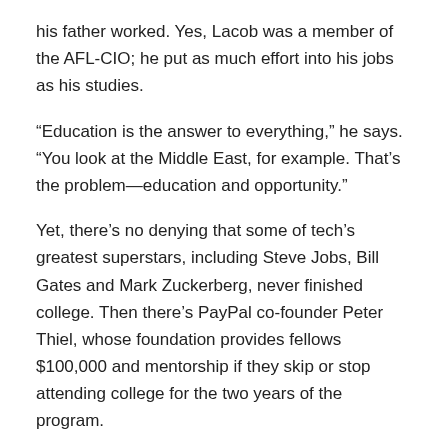his father worked. Yes, Lacob was a member of the AFL-CIO; he put as much effort into his jobs as his studies.
“Education is the answer to everything,” he says. “You look at the Middle East, for example. That’s the problem—education and opportunity.”
Yet, there’s no denying that some of tech’s greatest superstars, including Steve Jobs, Bill Gates and Mark Zuckerberg, never finished college. Then there’s PayPal co-founder Peter Thiel, whose foundation provides fellows $100,000 and mentorship if they skip or stop attending college for the two years of the program.
“I’m not in favor of that. That makes no sense to me,” Lacob says. “It’s true there are people in tech who make it without [a degree]. I’m not saying you can’t. If you’re going to be successful, you’re going to be successful. In general, people should get educated. There are a lot of better opportunities that result from it in the long run, and the odds are, you’re going to have a better life if you’re educated.”